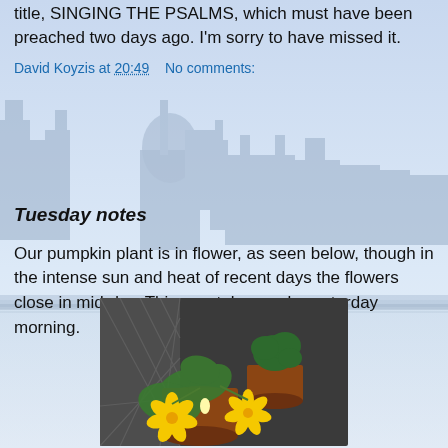title, SINGING THE PSALMS, which must have been preached two days ago. I'm sorry to have missed it.
David Koyzis at 20:49    No comments:
[Figure (photo): Background image of a European-style city/church skyline along a waterfront, light blue and grey tones]
Tuesday notes
Our pumpkin plant is in flower, as seen below, though in the intense sun and heat of recent days the flowers close in mid-day. This was taken early yesterday morning.
[Figure (photo): Photo of a pumpkin plant in a terracotta pot on a balcony, with bright yellow flowers and green leaves, chain-link fence visible in background]